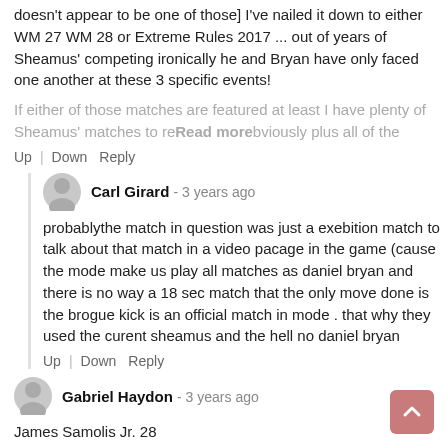doesn't appear to be one of those] I've nailed it down to either WM 27 WM 28 or Extreme Rules 2017 ... out of years of Sheamus' competing ironically he and Bryan have only faced one another at these 3 specific events!
If either of those matches are featured at least I have plenty of Sheamus' matches to re... obviously plus all of the
Up  Down  Reply
Carl Girard - 3 years ago
probablythe match in question was just a exebition match to talk about that match in a video pacage in the game (cause the mode make us play all matches as daniel bryan and there is no way a 18 sec match that the only move done is the brogue kick is an official match in mode . that why they used the curent sheamus and the hell no daniel bryan
Up  Down  Reply
Gabriel Haydon - 3 years ago
James Samolis Jr. 28